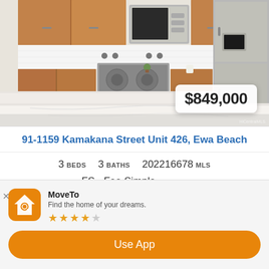[Figure (photo): Kitchen interior with stainless steel appliances, wood cabinets, white countertops, gas range, microwave, and refrigerator]
$849,000
91-1159 Kamakana Street Unit 426, Ewa Beach
3 BEDS   3 BATHS   202216678 MLS
FS - Fee Simple TENURE
Courtesy of RE/MAX ALOHA HOMES
MoveTo
Find the home of your dreams.
★★★★☆
Use App